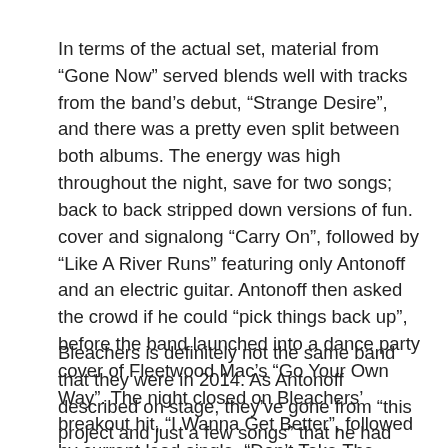In terms of the actual set, material from “Gone Now” served blends well with tracks from the band’s debut, “Strange Desire”, and there was a pretty even split between both albums. The energy was high throughout the night, save for two songs; back to back stripped down versions of fun. cover and signalong “Carry On”, followed by “Like A River Runs” featuring only Antonoff and an electric guitar. Antonoff then asked the crowd if he could “pick things back up”, before the band launched into a dance party cover of Fleetwood Mac’s “Go Your Own Way”. The night closed on Bleachers’ breakout hit, “I Wanna Get Better”, followed by current lead single, “Don’t Take The Money”.
Bleachers is definitely not the same band that they were in 2014. As Antonoff described on stage, they’ve gone from “this project and just a few songs” that he had